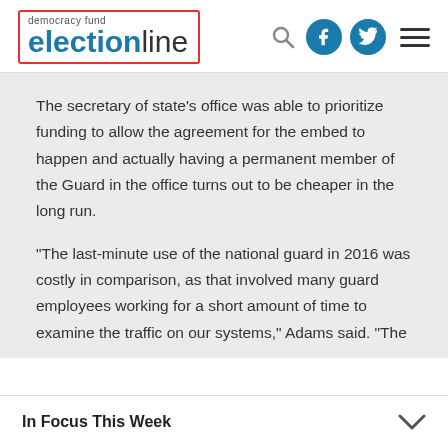democracy fund electionline
The secretary of state's office was able to prioritize funding to allow the agreement for the embed to happen and actually having a permanent member of the Guard in the office turns out to be cheaper in the long run.
“The last-minute use of the national guard in 2016 was costly in comparison, as that involved many guard employees working for a short amount of time to examine the traffic on our systems,” Adams said. “The
In Focus This Week